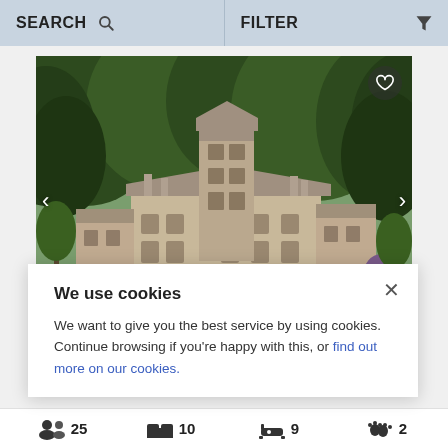SEARCH   FILTER
[Figure (photo): A large Scottish country house / manor set against dense green woodland hillside, seen from the front with gardens and trees in the foreground. Navigation arrows on left and right sides; heart/favorite icon top right.]
We use cookies

We want to give you the best service by using cookies. Continue browsing if you're happy with this, or find out more on our cookies.
25   10   9   2